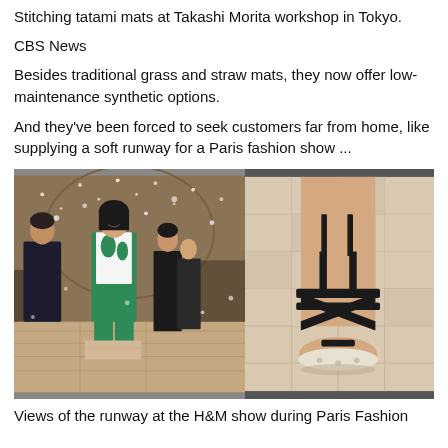Stitching tatami mats at Takashi Morita workshop in Tokyo.
CBS News
Besides traditional grass and straw mats, they now offer low-maintenance synthetic options.
And they’ve been forced to seek customers far from home, like supplying a soft runway for a Paris fashion show ...
[Figure (photo): Two photos side by side: left shows models walking a runway at H&M Paris Fashion Show on tatami mats, right shows a close-up of a model's foot in black strappy sandal on tatami mat runway floor.]
Views of the runway at the H&M show during Paris Fashion